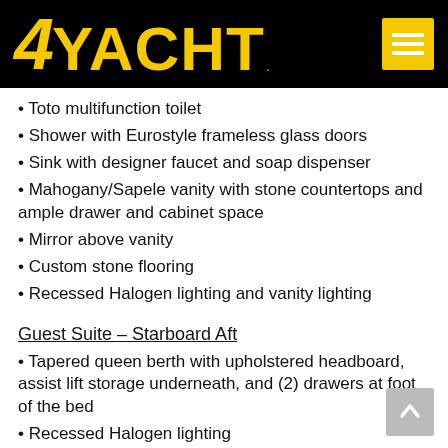4YACHT
Toto multifunction toilet
Shower with Eurostyle frameless glass doors
Sink with designer faucet and soap dispenser
Mahogany/Sapele vanity with stone countertops and ample drawer and cabinet space
Mirror above vanity
Custom stone flooring
Recessed Halogen lighting and vanity lighting
Guest Suite - Starboard Aft
Tapered queen berth with upholstered headboard, assist lift storage underneath, and (2) drawers at foot of the bed
Recessed Halogen lighting